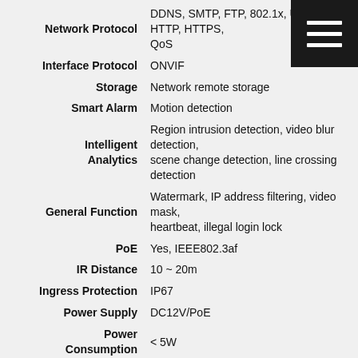| Feature | Value |
| --- | --- |
| Network Protocol | DDNS, SMTP, FTP, 802.1x, UPnP, HTTP, HTTPS, QoS |
| Interface Protocol | ONVIF |
| Storage | Network remote storage |
| Smart Alarm | Motion detection |
| Intelligent Analytics | Region intrusion detection, video blur detection, scene change detection, line crossing detection |
| General Function | Watermark, IP address filtering, video mask, heartbeat, illegal login lock |
| PoE | Yes, IEEE802.3af |
| IR Distance | 10 ~ 20m |
| Ingress Protection | IP67 |
| Power Supply | DC12V/PoE |
| Power Consumption | < 5W |
| Operating Environment | – 20 °C ~ 55 °C (-4°F~131°F) Humidity: less than 95 % (non-condensing) |
| Dimensions (mm) | 162.1 × 74.8 × 73.8 |
| Weight (net) | Approx. 0.24KG |
| Installation | Ceiling mounting; Wall mounting |